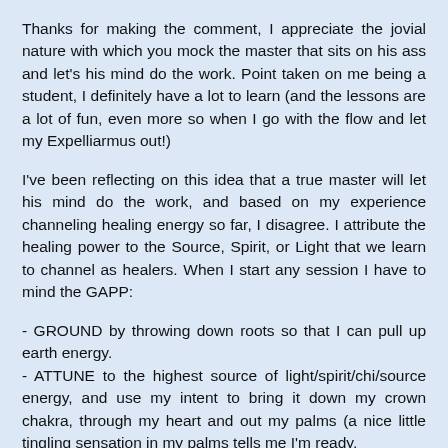Thanks for making the comment, I appreciate the jovial nature with which you mock the master that sits on his ass and let's his mind do the work. Point taken on me being a student, I definitely have a lot to learn (and the lessons are a lot of fun, even more so when I go with the flow and let my Expelliarmus out!)
I've been reflecting on this idea that a true master will let his mind do the work, and based on my experience channeling healing energy so far, I disagree. I attribute the healing power to the Source, Spirit, or Light that we learn to channel as healers. When I start any session I have to mind the GAPP:
- GROUND by throwing down roots so that I can pull up earth energy.
- ATTUNE to the highest source of light/spirit/chi/source energy, and use my intent to bring it down my crown chakra, through my heart and out my palms (a nice little tingling sensation in my palms tells me I'm ready.
- PERMISSION has to be gotten from the Source to continue.